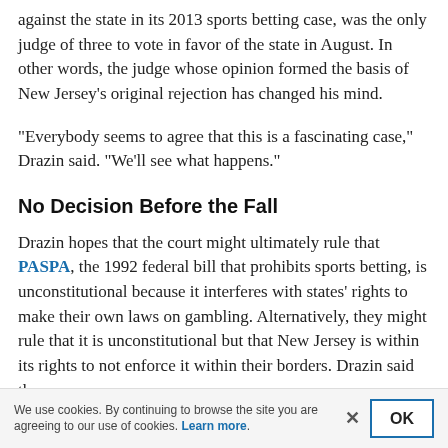against the state in its 2013 sports betting case, was the only judge of three to vote in favor of the state in August. In other words, the judge whose opinion formed the basis of New Jersey's original rejection has changed his mind.
“Everybody seems to agree that this is a fascinating case,” Drazin said. “We’ll see what happens.”
No Decision Before the Fall
Drazin hopes that the court might ultimately rule that PASPA, the 1992 federal bill that prohibits sports betting, is unconstitutional because it interferes with states’ rights to make their own laws on gambling. Alternatively, they might rule that it is unconstitutional but that New Jersey is within its rights to not enforce it within their borders. Drazin said the
We use cookies. By continuing to browse the site you are agreeing to our use of cookies. Learn more.